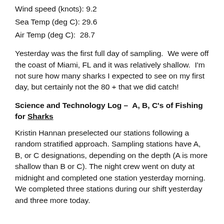Wind speed (knots): 9.2
Sea Temp (deg C): 29.6
Air Temp (deg C):  28.7
Yesterday was the first full day of sampling.  We were off the coast of Miami, FL and it was relatively shallow.  I'm not sure how many sharks I expected to see on my first day, but certainly not the 80 + that we did catch!
Science and Technology Log –  A, B, C's of Fishing for Sharks
Kristin Hannan preselected our stations following a random stratified approach. Sampling stations have A, B, or C designations, depending on the depth (A is more shallow than B or C). The night crew went on duty at midnight and completed one station yesterday morning. We completed three stations during our shift yesterday and three more today.